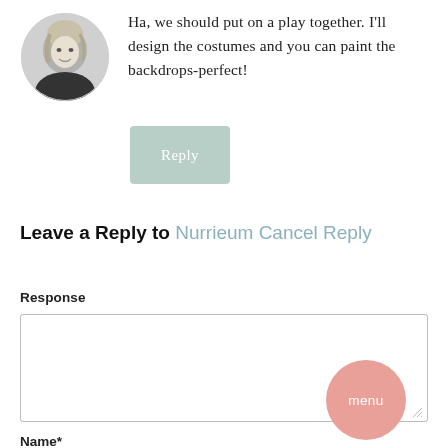[Figure (photo): Circular black and white avatar photo of a woman with short blonde hair]
Ha, we should put on a play together. I'll design the costumes and you can paint the backdrops-perfect!
Reply
Leave a Reply to Nurrieum Cancel Reply
Response
menu
Name*